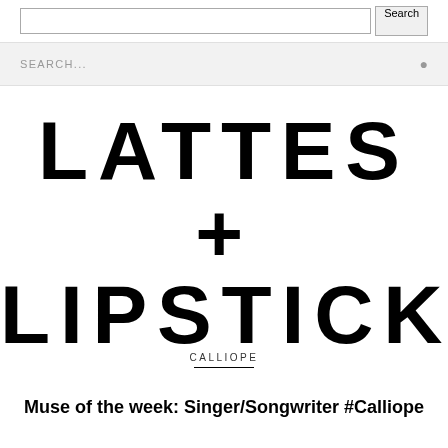Search
SEARCH...
LATTES + LIPSTICK
CALLIOPE
Muse of the week: Singer/Songwriter #Calliope